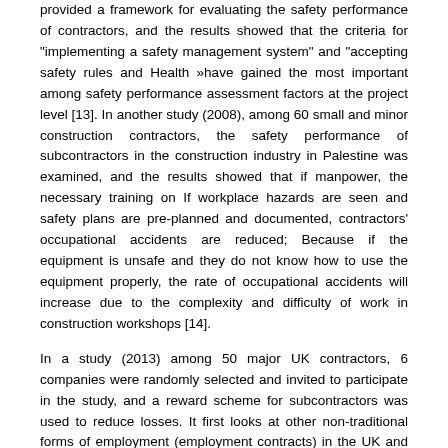provided a framework for evaluating the safety performance of contractors, and the results showed that the criteria for "implementing a safety management system" and "accepting safety rules and Health »have gained the most important among safety performance assessment factors at the project level [13]. In another study (2008), among 60 small and minor construction contractors, the safety performance of subcontractors in the construction industry in Palestine was examined, and the results showed that if manpower, the necessary training on If workplace hazards are seen and safety plans are pre-planned and documented, contractors' occupational accidents are reduced; Because if the equipment is unsafe and they do not know how to use the equipment properly, the rate of occupational accidents will increase due to the complexity and difficulty of work in construction workshops [14].
In a study (2013) among 50 major UK contractors, 6 companies were randomly selected and invited to participate in the study, and a reward scheme for subcontractors was used to reduce losses. It first looks at other non-traditional forms of employment (employment contracts) in the UK and points to reasons such as the avoidance of workers' compensation. To